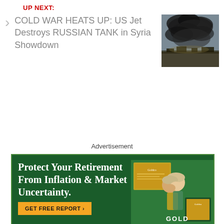UP NEXT:
COLD WAR HEATS UP: US Jet Destroys RUSSIAN TANK in Syria Showdown
[Figure (photo): Dark smoke cloud rising from a conflict scene in Syria]
Advertisement
[Figure (infographic): Advertisement banner with green background reading: Protect Your Retirement From Inflation & Market Uncertainty. GET FREE REPORT > with image of smiling elderly couple and gold bars. GOLD text visible at bottom.]